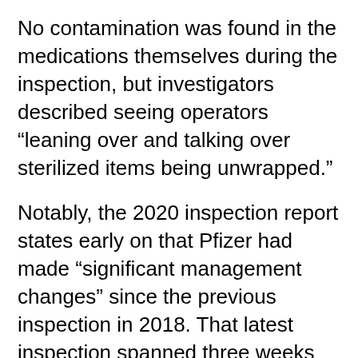No contamination was found in the medications themselves during the inspection, but investigators described seeing operators “leaning over and talking over sterilized items being unwrapped.”
Notably, the 2020 inspection report states early on that Pfizer had made “significant management changes” since the previous inspection in 2018. That latest inspection spanned three weeks from December 2019 to January 2020 and inspectors wrote “management was cooperative and no refusals were encountered.”
Christopher Smith, vice president of quality operations for Pfizer’s U.S. and European Union